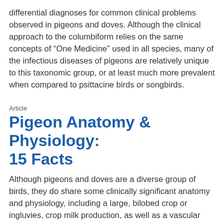differential diagnoses for common clinical problems observed in pigeons and doves. Although the clinical approach to the columbiform relies on the same concepts of “One Medicine” used in all species, many of the infectious diseases of pigeons are relatively unique to this taxonomic group, or at least much more prevalent when compared to psittacine birds or songbirds.
Article
Pigeon Anatomy & Physiology: 15 Facts
Although pigeons and doves are a diverse group of birds, they do share some clinically significant anatomy and physiology, including a large, bilobed crop or ingluvies, crop milk production, as well as a vascular plexus found in the subcutis of pigeons. This post also touches on specialized anatomic features unique to fruit pigeons before we examine common features of the columbid...